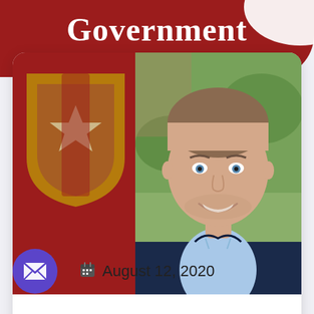Government
[Figure (photo): Profile card with a university/government logo shield on the left and a professional headshot of a smiling man in a dark blazer and light blue shirt on the right]
August 12, 2020